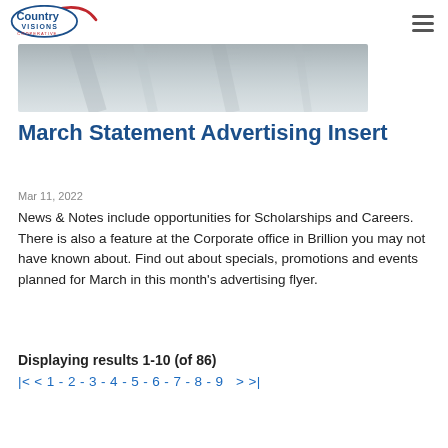Country Visions Cooperative [logo] [hamburger menu]
[Figure (photo): Partial hero image showing a blurred indoor/metallic scene, cropped at the top]
March Statement Advertising Insert
Mar 11, 2022
News & Notes include opportunities for Scholarships and Careers. There is also a feature at the Corporate office in Brillion you may not have known about. Find out about specials, promotions and events planned for March in this month's advertising flyer.
Displaying results 1-10 (of 86)
|< < 1 - 2 - 3 - 4 - 5 - 6 - 7 - 8 - 9  > >|